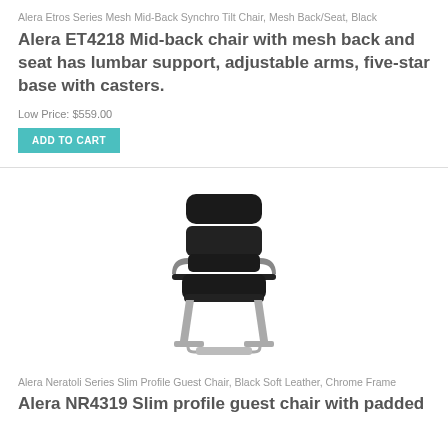Alera Etros Series Mesh Mid-Back Synchro Tilt Chair, Mesh Back/Seat, Black
Alera ET4218 Mid-back chair with mesh back and seat has lumbar support, adjustable arms, five-star base with casters.
Low Price: $559.00
ADD TO CART
[Figure (photo): Black leather slim profile guest chair with chrome sled base and padded armrests]
Alera Neratoli Series Slim Profile Guest Chair, Black Soft Leather, Chrome Frame
Alera NR4319 Slim profile guest chair with padded